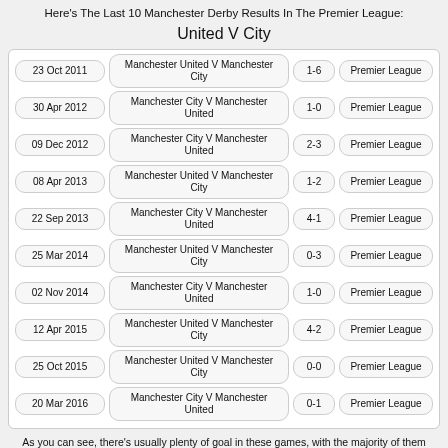Here's The Last 10 Manchester Derby Results In The Premier League:
United V City
| Date | Match | Score | Competition |
| --- | --- | --- | --- |
| 23 Oct 2011 | Manchester United V Manchester City | 1-6 | Premier League |
| 30 Apr 2012 | Manchester City V Manchester United | 1-0 | Premier League |
| 09 Dec 2012 | Manchester City V Manchester United | 2-3 | Premier League |
| 08 Apr 2013 | Manchester United V Manchester City | 1-2 | Premier League |
| 22 Sep 2013 | Manchester City V Manchester United | 4-1 | Premier League |
| 25 Mar 2014 | Manchester United V Manchester City | 0-3 | Premier League |
| 02 Nov 2014 | Manchester City V Manchester United | 1-0 | Premier League |
| 12 Apr 2015 | Manchester United V Manchester City | 4-2 | Premier League |
| 25 Oct 2015 | Manchester United V Manchester City | 0-0 | Premier League |
| 20 Mar 2016 | Manchester City V Manchester United | 0-1 | Premier League |
As you can see, there's usually plenty of goal in these games, with the majority of them being scored by Manchester City in recent years. However, since 2015, Manchester United's derby formed has actually picked up and they've come away with a draw and 2 victories from the last 3 derbies.